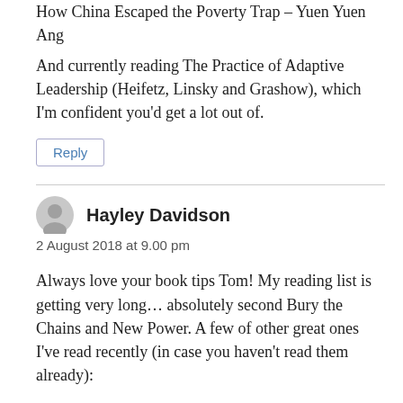How China Escaped the Poverty Trap – Yuen Yuen Ang
And currently reading The Practice of Adaptive Leadership (Heifetz, Linsky and Grashow), which I'm confident you'd get a lot out of.
Reply
Hayley Davidson
2 August 2018 at 9.00 pm
Always love your book tips Tom! My reading list is getting very long… absolutely second Bury the Chains and New Power. A few of other great ones I've read recently (in case you haven't read them already):